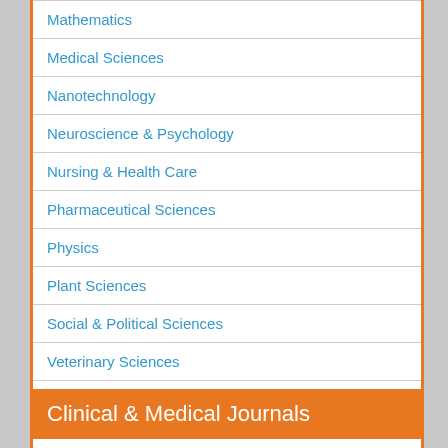Mathematics
Medical Sciences
Nanotechnology
Neuroscience & Psychology
Nursing & Health Care
Pharmaceutical Sciences
Physics
Plant Sciences
Social & Political Sciences
Veterinary Sciences
Clinical & Medical Journals
Anesthesiology
Cardiology
Clinical Research